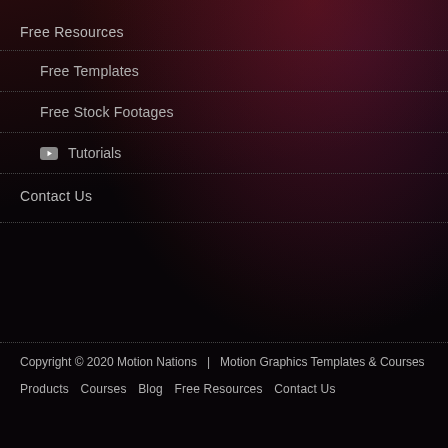Free Resources
Free Templates
Free Stock Footages
Tutorials
Contact Us
Copyright © 2020 Motion Nations  |  Motion Graphics Templates & Courses
Products   Courses   Blog   Free Resources   Contact Us